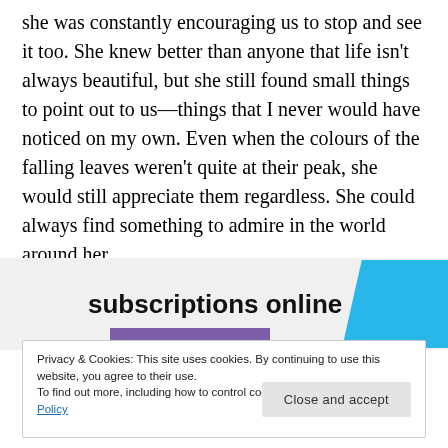she was constantly encouraging us to stop and see it too. She knew better than anyone that life isn't always beautiful, but she still found small things to point out to us—things that I never would have noticed on my own. Even when the colours of the falling leaves weren't quite at their peak, she would still appreciate them regardless. She could always find something to admire in the world around her.
[Figure (other): Partial advertisement banner showing bold text 'subscriptions online' with a cyan/blue angled shape on the right and a purple rectangle at the bottom]
Privacy & Cookies: This site uses cookies. By continuing to use this website, you agree to their use. To find out more, including how to control cookies, see here: Cookie Policy